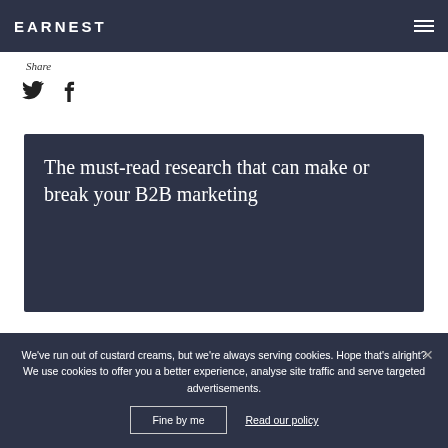EARNEST
Share
[Figure (illustration): Twitter bird icon and Facebook f icon for social sharing]
The must-read research that can make or break your B2B marketing
We've run out of custard creams, but we're always serving cookies. Hope that's alright? We use cookies to offer you a better experience, analyse site traffic and serve targeted advertisements.
Fine by me   Read our policy